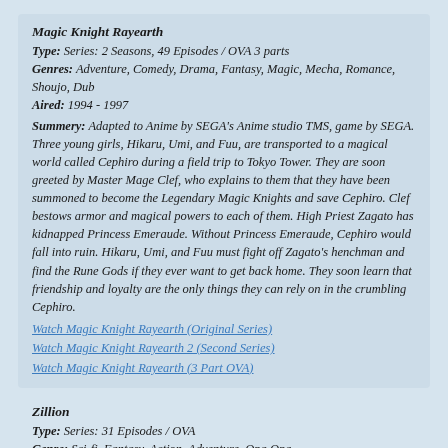Magic Knight Rayearth
Type: Series: 2 Seasons, 49 Episodes / OVA 3 parts
Genres: Adventure, Comedy, Drama, Fantasy, Magic, Mecha, Romance, Shoujo, Dub
Aired: 1994 - 1997
Summery: Adapted to Anime by SEGA's Anime studio TMS, game by SEGA. Three young girls, Hikaru, Umi, and Fuu, are transported to a magical world called Cephiro during a field trip to Tokyo Tower. They are soon greeted by Master Mage Clef, who explains to them that they have been summoned to become the Legendary Magic Knights and save Cephiro. Clef bestows armor and magical powers to each of them. High Priest Zagato has kidnapped Princess Emeraude. Without Princess Emeraude, Cephiro would fall into ruin. Hikaru, Umi, and Fuu must fight off Zagato's henchman and find the Rune Gods if they ever want to get back home. They soon learn that friendship and loyalty are the only things they can rely on in the crumbling Cephiro.
Watch Magic Knight Rayearth (Original Series)
Watch Magic Knight Rayearth 2 (Second Series)
Watch Magic Knight Rayearth (3 Part OVA)
Zillion
Type: Series: 31 Episodes / OVA
Genre: Sci-fi, Fantasy, Action, Adventure, Opa Opa